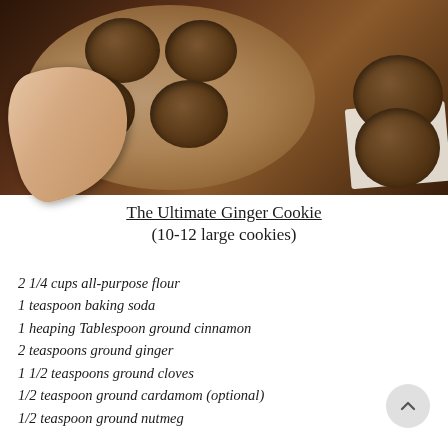[Figure (photo): Overhead photo of a plate of dark brown crinkled ginger cookies on a wooden table. A hand is reaching in to grab one cookie. To the right side is a halved cookie on a white napkin showing the interior.]
The Ultimate Ginger Cookie
(10-12 large cookies)
2 1/4 cups all-purpose flour
1 teaspoon baking soda
1 heaping Tablespoon ground cinnamon
2 teaspoons ground ginger
1 1/2 teaspoons ground cloves
1/2 teaspoon ground cardamom (optional)
1/2 teaspoon ground nutmeg